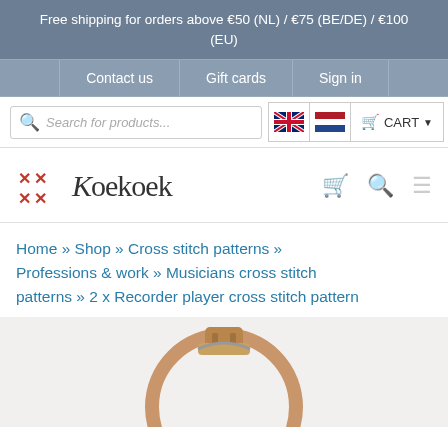Free shipping for orders above €50 (NL) / €75 (BE/DE) / €100 (EU)
Contact us | Gift cards | Sign in
Search for products... [UK flag] [NL flag] CART
[Figure (logo): Koekoek cross-stitch brand logo with red X pattern]
Home » Shop » Cross stitch patterns » Professions & work » Musicians cross stitch patterns » 2 x Recorder player cross stitch pattern
[Figure (photo): Embroidery hoop photo, wooden circular hoop on white background]